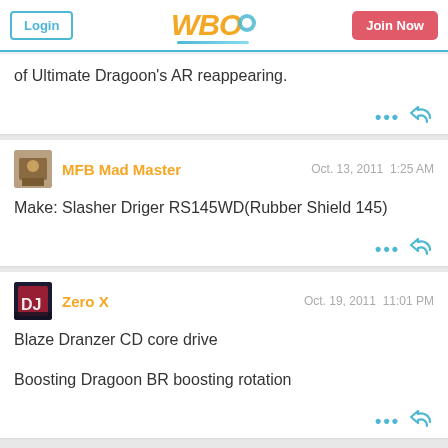WBO site header with Login and Join Now buttons
of Ultimate Dragoon's AR reappearing.
MFB Mad Master  Oct. 13, 2011  1:25 AM
Make: Slasher Driger RS145WD(Rubber Shield 145)
Zero X  Oct. 19, 2011  11:01 PM
Blaze Dranzer CD core drive
Boosting Dragoon BR boosting rotation